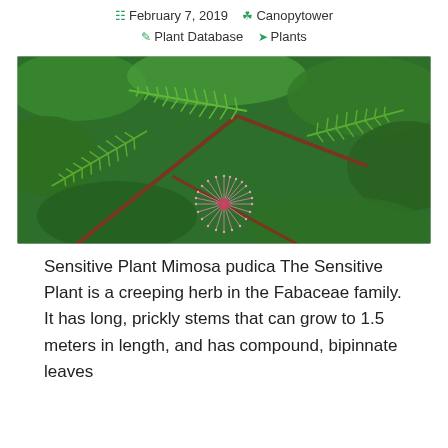February 7, 2019  Canopytower  Plant Database  Plants
[Figure (photo): Close-up photograph of Mimosa pudica (Sensitive Plant) showing feathery compound bipinnate green leaves and a pink fluffy spherical flower bloom against a green foliage background.]
Sensitive Plant Mimosa pudica The Sensitive Plant is a creeping herb in the Fabaceae family. It has long, prickly stems that can grow to 1.5 meters in length, and has compound, bipinnate leaves